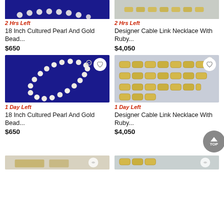[Figure (photo): 18 Inch Cultured Pearl And Gold Bead necklace on blue background, cropped top]
[Figure (photo): Designer Cable Link Necklace on light gray background, cropped top]
2 Hrs Left
18 Inch Cultured Pearl And Gold Bead...
$650
2 Hrs Left
Designer Cable Link Necklace With Ruby...
$4,050
[Figure (photo): 18 Inch Cultured Pearl And Gold Bead necklace on blue background with heart icon]
[Figure (photo): Designer Cable Link Necklace on light blue background with heart icon]
1 Day Left
18 Inch Cultured Pearl And Gold Bead...
$650
1 Day Left
Designer Cable Link Necklace With Ruby...
$4,050
[Figure (photo): Partial bottom product image on left]
[Figure (photo): Partial bottom product image on right]